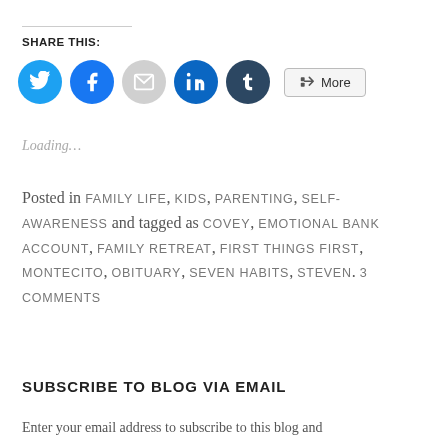SHARE THIS:
[Figure (infographic): Row of social share icons: Twitter (blue circle), Facebook (blue circle), Email (gray circle), LinkedIn (dark blue circle), Tumblr (darkest blue circle), and a More button with share icon]
Loading...
Posted in FAMILY LIFE, KIDS, PARENTING, SELF-AWARENESS and tagged as COVEY, EMOTIONAL BANK ACCOUNT, FAMILY RETREAT, FIRST THINGS FIRST, MONTECITO, OBITUARY, SEVEN HABITS, STEVEN. 3 COMMENTS
SUBSCRIBE TO BLOG VIA EMAIL